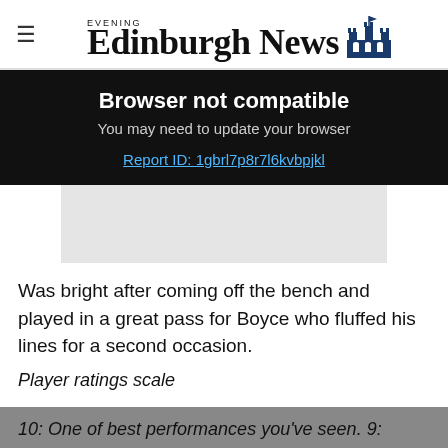Edinburgh Evening News
[Figure (screenshot): Browser not compatible banner with text: Browser not compatible / You may need to update your browser / Report ID: 1gbrl7p8r7l6kvbpjkl]
[Figure (photo): Light grey image placeholder rectangle]
Was bright after coming off the bench and played in a great pass for Boyce who fluffed his lines for a second occasion.
Player ratings scale
10: One of best performances you've seen. 9: